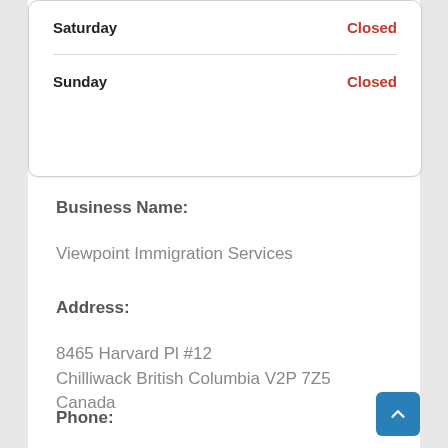| Day | Status |
| --- | --- |
| Saturday | Closed |
| Sunday | Closed |
Business Name:
Viewpoint Immigration Services
Address:
8465 Harvard Pl #12
Chilliwack British Columbia V2P 7Z5
Canada
Phone: